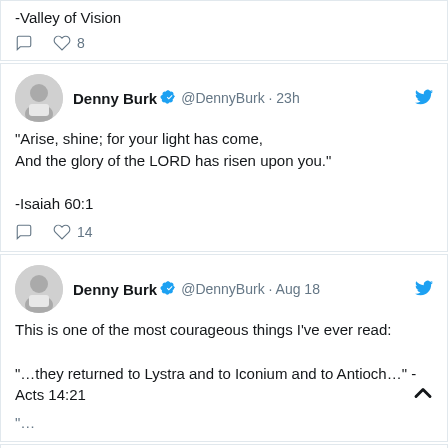-Valley of Vision
💬  🤍 8
Denny Burk ✅ @DennyBurk · 23h
"Arise, shine; for your light has come, And the glory of the LORD has risen upon you." -Isaiah 60:1
💬  🤍 14
Denny Burk ✅ @DennyBurk · Aug 18
This is one of the most courageous things I've ever read: "…they returned to Lystra and to Iconium and to Antioch…" -Acts 14:21
^ (scroll up arrow)